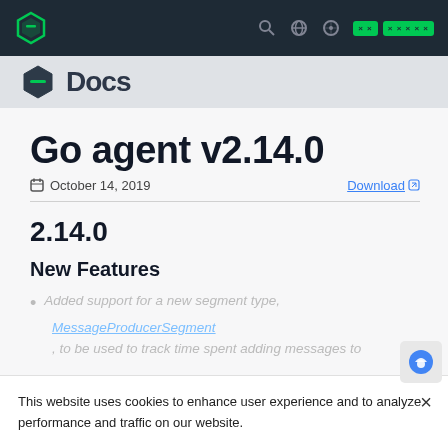Navigation bar with logo, search, globe, theme toggle, and badge buttons
[Figure (logo): New Relic hexagonal logo and Docs label in dark top navigation bar]
Go agent v2.14.0
October 14, 2019 — Download
2.14.0
New Features
Added support for a new segment type, MessageProducerSegment, to be used to track time spent adding messages to
This website uses cookies to enhance user experience and to analyze performance and traffic on our website.